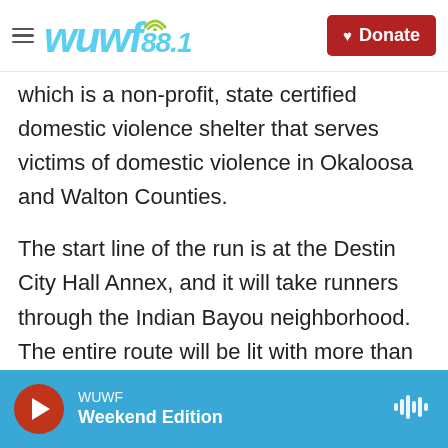WUWF 88.1 — Donate
which is a non-profit, state certified domestic violence shelter that serves victims of domestic violence in Okaloosa and Walton Counties.
The start line of the run is at the Destin City Hall Annex, and it will take runners through the Indian Bayou neighborhood. The entire route will be lit with more than 2-thousand white luminaria bags, representing how Shelter House and its community partners light the way to a safer place for those impacted by domestic violence.
WUWF Weekend Edition